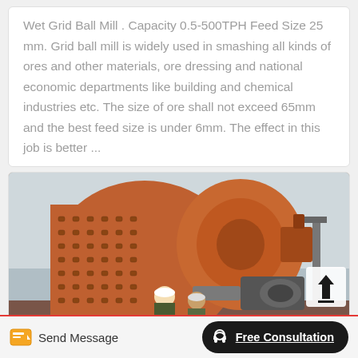Wet Grid Ball Mill . Capacity 0.5-500TPH Feed Size 25 mm. Grid ball mill is widely used in smashing all kinds of ores and other materials, ore dressing and national economic departments like building and chemical industries etc. The size of ore shall not exceed 65mm and the best feed size is under 6mm. The effect in this job is better ...
[Figure (photo): Photo of a large orange industrial wet grid ball mill with workers in hard hats standing in front of it. Heavy machinery with cylindrical drum and motor assembly visible.]
Send Message | Free Consultation